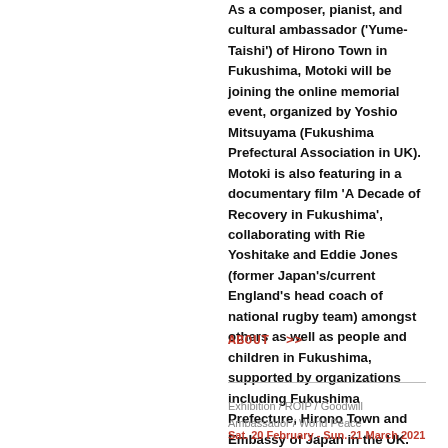As a composer, pianist, and cultural ambassador ('Yume-Taishi') of Hirono Town in Fukushima, Motoki will be joining the online memorial event, organized by Yoshio Mitsuyama (Fukushima Prefectural Association in UK). Motoki is also featuring in a documentary film 'A Decade of Recovery in Fukushima', collaborating with Rie Yoshitake and Eddie Jones (former Japan's/current England's head coach of national rugby team) amongst others as well as people and children in Fukushima, supported by organizations including Fukushima Prefecture, Hirono Town and Embassy of Japan in the UK.
ABOUT >>
Exhibition / ROIP / Goodwill Ambassador / World Peace
Sat. 20 February - Sun. 21 March 2021